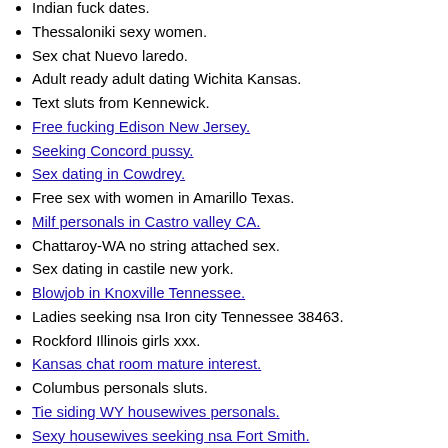Indian fuck dates.
Thessaloniki sexy women.
Sex chat Nuevo laredo.
Adult ready adult dating Wichita Kansas.
Text sluts from Kennewick.
Free fucking Edison New Jersey. [link]
Seeking Concord pussy. [link]
Sex dating in Cowdrey. [link]
Free sex with women in Amarillo Texas.
Milf personals in Castro valley CA. [link]
Chattaroy-WA no string attached sex.
Sex dating in castile new york.
Blowjob in Knoxville Tennessee. [link]
Ladies seeking nsa Iron city Tennessee 38463.
Rockford Illinois girls xxx.
Kansas chat room mature interest. [link]
Columbus personals sluts.
Tie siding WY housewives personals. [link]
Sexy housewives seeking nsa Fort Smith. [link]
Looking Real Sex Bluffs.
Need partner nsa. [link]
Swinger sex Motherwell. [link]
Don t fall in love with people like me.
Adult singles dating in Branson.
Married personals mature Barry Texas. [link]